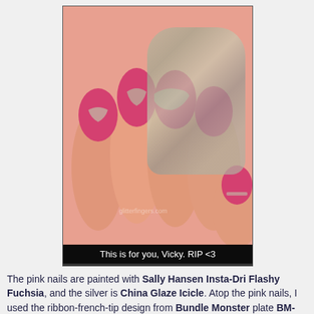[Figure (photo): Close-up photo of a hand showing pink and silver nail art with a ribbon french-tip stamping design. The nails are painted with a hot pink polish with metallic silver stamp designs on top.]
This is for you, Vicky. RIP <3
The pink nails are painted with Sally Hansen Insta-Dri Flashy Fuchsia, and the silver is China Glaze Icicle. Atop the pink nails, I used the ribbon-french-tip design from Bundle Monster plate BM-324 to stamp in Sally Hansen Insta-Dri Silver Sweep. Stamping french tip designs is harddddd, y'all. It only came out non-wonky on the middle